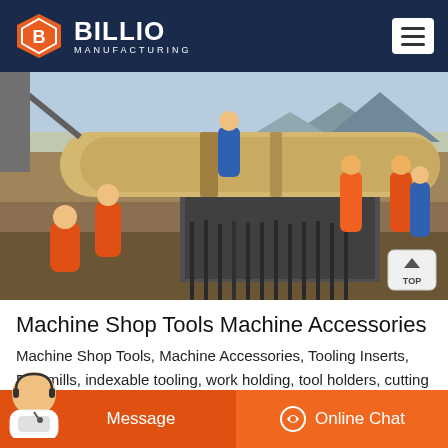BILLIO MANUFACTURING
[Figure (photo): Construction workers in orange safety vests working on a large industrial project, maneuvering a large heavy cylindrical component at a construction site with mountains in the background.]
Machine Shop Tools Machine Accessories
Machine Shop Tools, Machine Accessories, Tooling Inserts, End mills, indexable tooling, work holding, tool holders, cutting tools both HSS and carbide, carbide inserts. Since 1969 providing high quality tooling and
Message   Online Chat